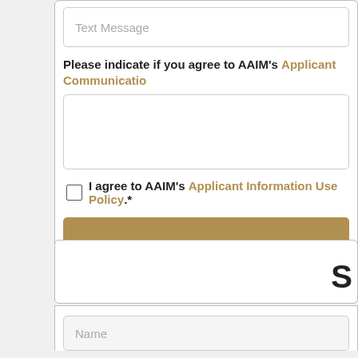Text Message
Please indicate if you agree to AAIM's Applicant Communication
I agree to AAIM's Applicant Information Use Policy.*
S
Name